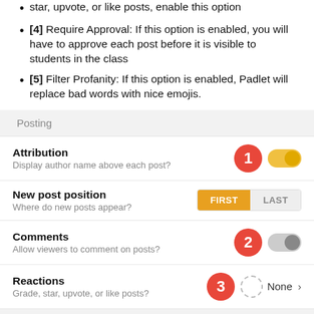star, upvote, or like posts, enable this option
[4] Require Approval: If this option is enabled, you will have to approve each post before it is visible to students in the class
[5] Filter Profanity: If this option is enabled, Padlet will replace bad words with nice emojis.
Posting
Attribution - Display author name above each post? [toggle ON]
New post position - Where do new posts appear? [FIRST selected]
Comments - Allow viewers to comment on posts? [toggle OFF]
Reactions - Grade, star, upvote, or like posts? None